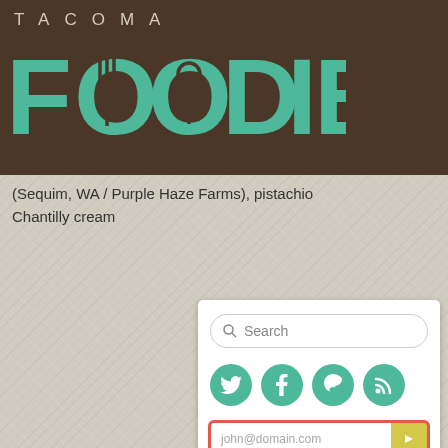[Figure (logo): Tacoma Foodie logo: brown header bar with 'TACOMA' in spaced caps and 'FOODIE' in large teal bold letters with fork and spoon icons integrated into the letters]
(Sequim, WA / Purple Haze Farms), pistachio
Chantilly cream
[Figure (screenshot): Sidebar widget panel on linen-textured background showing: a search box with magnifier icon, four teal social media circles (Twitter, Facebook, Pinterest, RSS), an email subscription input with red border showing 'john@domain.com' placeholder and yellow submit arrow button, and a 'RECENT' section header]